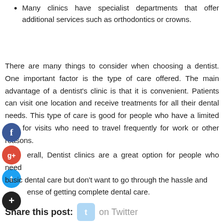Many clinics have specialist departments that offer additional services such as orthodontics or crowns.
There are many things to consider when choosing a dentist. One important factor is the type of care offered. The main advantage of a dentist's clinic is that it is convenient. Patients can visit one location and receive treatments for all their dental needs. This type of care is good for people who have a limited time for visits who need to travel frequently for work or other reasons.
Overall, Dentist clinics are a great option for people who need basic dental care but don't want to go through the hassle and expense of getting complete dental care.
Share this post: on Twitter